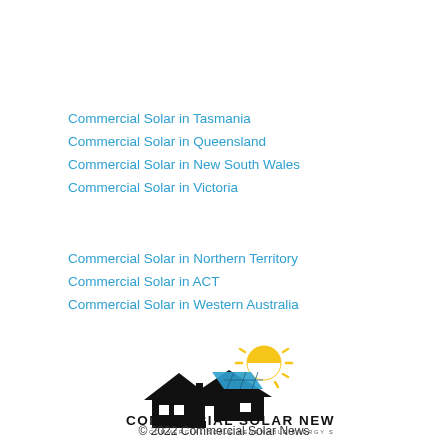Commercial Solar in Tasmania
Commercial Solar in Queensland
Commercial Solar in New South Wales
Commercial Solar in Victoria
Commercial Solar in Northern Territory
Commercial Solar in ACT
Commercial Solar in Western Australia
[Figure (logo): Commercial Solar News logo with house rooftop silhouette and solar panels with a golden sun, text COMMERCIAL SOLAR NEWS and tagline COMMERCIAL SCALE RENEWABLE ENERGY SOLUTIONS]
© 2022 Commercial Solar News